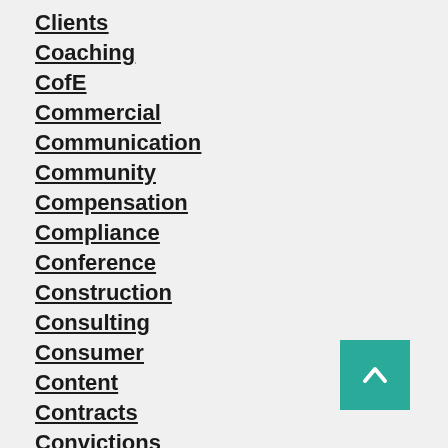Clients
Coaching
CofE
Commercial
Communication
Community
Compensation
Compliance
Conference
Construction
Consulting
Consumer
Content
Contracts
Convictions
Corporate
Corporation Tax